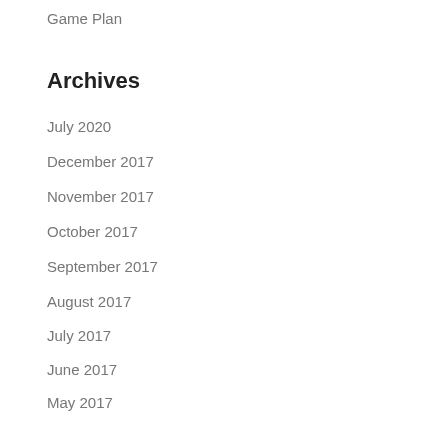Game Plan
Archives
July 2020
December 2017
November 2017
October 2017
September 2017
August 2017
July 2017
June 2017
May 2017
April 2017
March 2017
February 2017